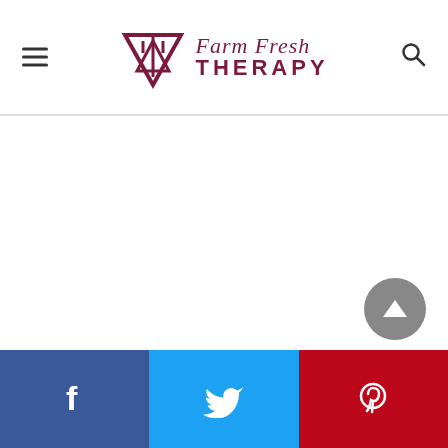Farm Fresh Therapy — site header with logo, hamburger menu, and search icon
[Figure (other): Main white content area (blank/empty)]
[Figure (other): Scroll-to-top circular button with upward triangle arrow]
[Figure (other): Social sharing bar with Facebook, Twitter, and Pinterest buttons]